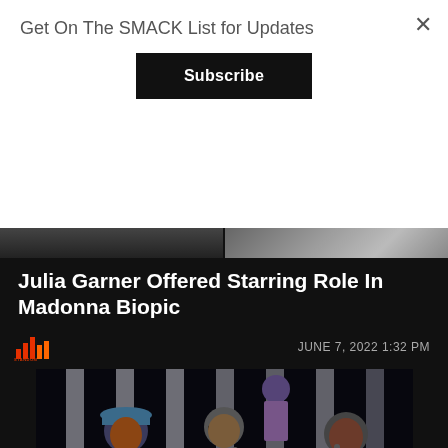Get On The SMACK List for Updates
×
Subscribe
Julia Garner Offered Starring Role In Madonna Biopic
[Figure (logo): STANDOM or similar music site logo with red/orange bar chart icon]
JUNE 7, 2022 1:32 PM
[Figure (photo): Three rappers performing on stage; left person wearing bucket hat and red jacket, center person in white CASA BLANCA shirt with chains and sunglasses, right person in patterned jacket holding microphone. Stage has vertical light columns in background.]